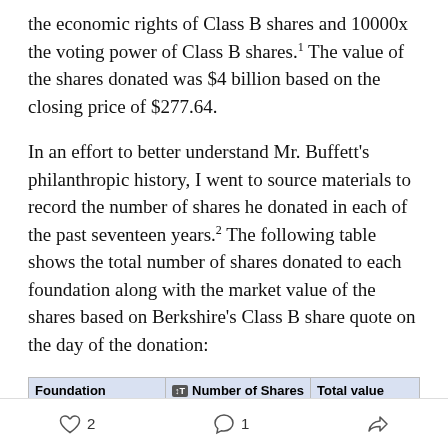the economic rights of Class B shares and 10000x the voting power of Class B shares.¹ The value of the shares donated was $4 billion based on the closing price of $277.64.
In an effort to better understand Mr. Buffett's philanthropic history, I went to source materials to record the number of shares he donated in each of the past seventeen years.² The following table shows the total number of shares donated to each foundation along with the market value of the shares based on Berkshire's Class B share quote on the day of the donation:
| Foundation | Number of Shares | Total value |
| --- | --- | --- |
| Bill and Melinda Gates Foundation | 290,939,825 | 35,647,556,193 |
♡ 2   💬 1   Share